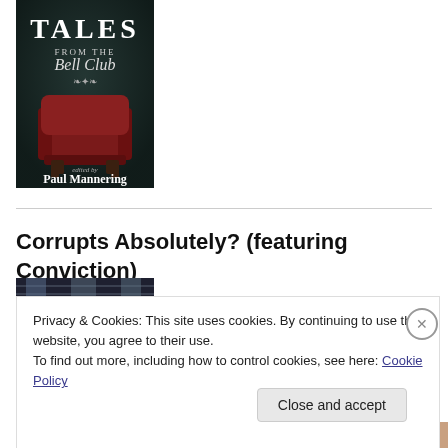[Figure (illustration): Book cover for 'Tales from the Bell Club' edited by Paul Mannering. Dark gothic style with a red armchair on a dark background. White decorative text.]
Corrupts Absolutely? (featuring Conviction)
[Figure (photo): Partial thumbnail of a dark image with window/blinds visible at top]
Privacy & Cookies: This site uses cookies. By continuing to use this website, you agree to their use.
To find out more, including how to control cookies, see here: Cookie Policy